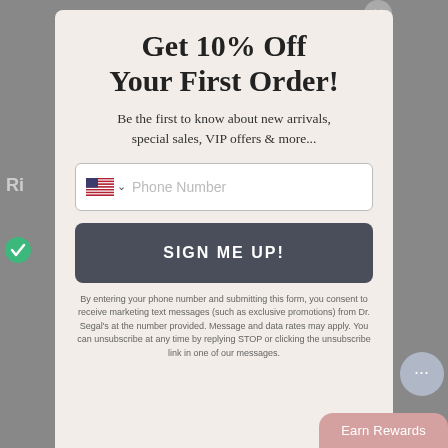Get 10% Off Your First Order!
Be the first to know about new arrivals, special sales, VIP offers & more...
Phone Number (input field with US flag)
SIGN ME UP!
By entering your phone number and submitting this form, you consent to receive marketing text messages (such as exclusive promotions) from Dr. Segal's at the number provided. Message and data rates may apply. You can unsubscribe at any time by replying STOP or clicking the unsubscribe link in one of our messages.
Earn Rewards